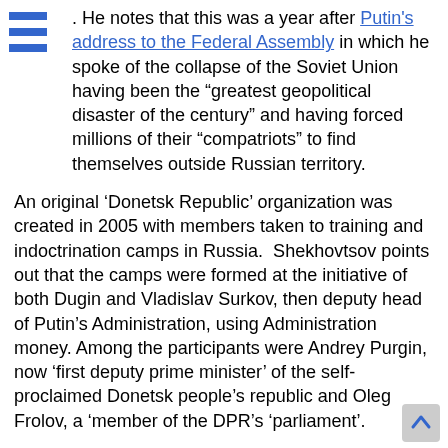He notes that this was a year after Putin's address to the Federal Assembly in which he spoke of the collapse of the Soviet Union having been the "greatest geopolitical disaster of the century" and having forced millions of their "compatriots" to find themselves outside Russian territory.
An original 'Donetsk Republic' organization was created in 2005 with members taken to training and indoctrination camps in Russia. Shekhovtsov points out that the camps were formed at the initiative of both Dugin and Vladislav Surkov, then deputy head of Putin's Administration, using Administration money. Among the participants were Andrey Purgin, now 'first deputy prime minister' of the self-proclaimed Donetsk people's republic and Oleg Frolov, a 'member of the DPR's 'parliament'.
None of this is new, not even the attempts to present all Ukrainians who oppose them as 'neo-Nazi' and 'fascist'. The terms, as Shekhovtsov aptly puts it, are turned on their head.
Putin's response to expressions of outrage on Thursday over irrefutable evidence of Russian military engageme...